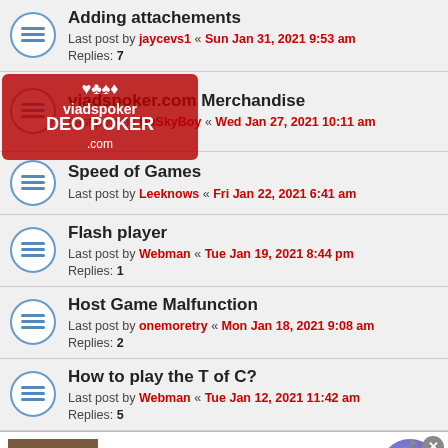Adding attachements
Last post by jaycevs1 « Sun Jan 31, 2021 9:53 am
Replies: 7
Viadspoker.com Merchandise
Last post by HuSkyBoy « Wed Jan 27, 2021 10:11 am
Speed of Games
Last post by Leeknows « Fri Jan 22, 2021 6:41 am
Flash player
Last post by Webman « Tue Jan 19, 2021 8:44 pm
Replies: 1
Host Game Malfunction
Last post by onemoretry « Mon Jan 18, 2021 9:08 am
Replies: 2
How to play the T of C?
Last post by Webman « Tue Jan 12, 2021 11:42 am
Replies: 5
[Figure (infographic): Advertisement banner: Ears Ringing? When Tinnitus Won't Stop, Do This (Watch)]
This site uses cookies for personalized content and analytics. By continuing to use this site, you agree to this use. Close